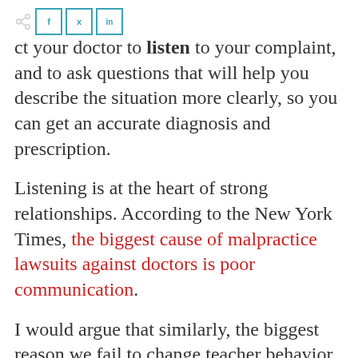...ct your doctor to listen to your complaint, and to ask questions that will help you describe the situation more clearly, so you can get an accurate diagnosis and prescription.
Listening is at the heart of strong relationships. According to the New York Times, the biggest cause of malpractice lawsuits against doctors is poor communication.
I would argue that similarly, the biggest reason we fail to change teacher behavior—even when we know exactly what needs to...